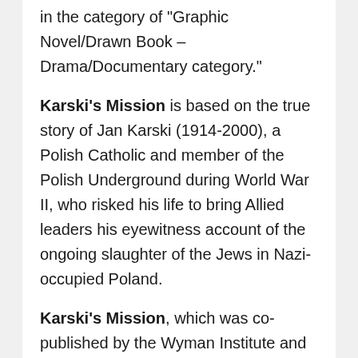in the category of "Graphic Novel/Drawn Book – Drama/Documentary category."
Karski's Mission is based on the true story of Jan Karski (1914-2000), a Polish Catholic and member of the Polish Underground during World War II, who risked his life to bring Allied leaders his eyewitness account of the ongoing slaughter of the Jews in Nazi-occupied Poland.
Karski's Mission, which was co-published by the Wyman Institute and the Jan Karski Educational Foundation, received additional support from Fundacja Edukacyjna Jana Karskiego, the Association of Friends of the...